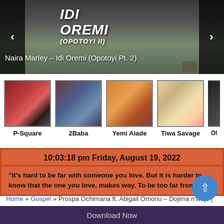[Figure (screenshot): Hero banner showing 'IDI OREMI (OPOTOYI II)' album art with green/dark tones, navigation arrows on left and right, subtitle 'Naira Marley – Idi Oremi (Opotoyi Pt. 2)' at bottom]
[Figure (photo): Artist thumbnails row: P-Square, 2Baba, Yemi Alade, Tiwa Savage, and partial fifth artist]
10:03:18 pm Friday, August 19, 2022
"It's hard to be far with someone you love. But it is harder to know that the one you love, makes way. To be too far from you."
Home » Gospel » Prospa Ochimana ft. Abigail Omonu – Dojima n'wojo |
/ Record Label: Tornveil Music
Download Now